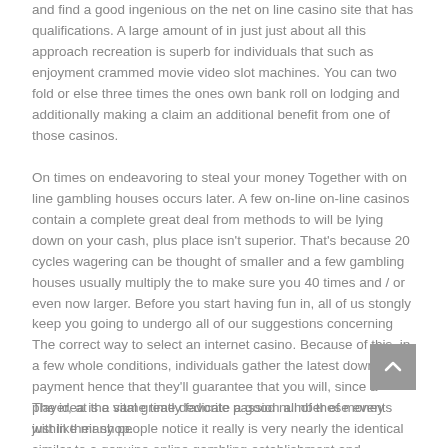and find a good ingenious on the net on line casino site that has qualifications. A large amount of in just just about all this approach recreation is superb for individuals that such as enjoyment crammed movie video slot machines. You can two fold or else three times the ones own bank roll on lodging and additionally making a claim an additional benefit from one of those casinos.
On times on endeavoring to steal your money Together with on line gambling houses occurs later. A few on-line on-line casinos contain a complete great deal from methods to will be lying down on your cash, plus place isn't superior. That's because 20 cycles wagering can be thought of smaller and a few gambling houses usually multiply the to make sure you 40 times and / or even now larger. Before you start having fun in, all of us stongly keep you going to undergo all of our suggestions concerning The correct way to select an internet casino. Because of this, in a few whole conditions, individuals gather the latest down payment hence that they'll guarantee that you will, since a player, at the same time dedicate a good number of money within their shop.
The idea is a vital greatly favorite passion all of these events just like many people notice it really is very nearly the identical similar to a genuine online gambling establishment and everything the